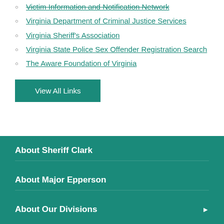Victim Information and Notification Network
Virginia Department of Criminal Justice Services
Virginia Sheriff's Association
Virginia State Police Sex Offender Registration Search
The Aware Foundation of Virginia
View All Links
About Sheriff Clark
About Major Epperson
About Our Divisions